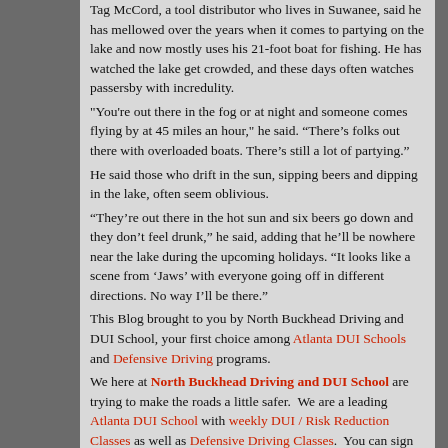Tag McCord, a tool distributor who lives in Suwanee, said he has mellowed over the years when it comes to partying on the lake and now mostly uses his 21-foot boat for fishing. He has watched the lake get crowded, and these days often watches passersby with incredulity.
"You're out there in the fog or at night and someone comes flying by at 45 miles an hour," he said. “There’s folks out there with overloaded boats. There’s still a lot of partying.”
He said those who drift in the sun, sipping beers and dipping in the lake, often seem oblivious.
“They’re out there in the hot sun and six beers go down and they don’t feel drunk,” he said, adding that he’ll be nowhere near the lake during the upcoming holidays. “It looks like a scene from ‘Jaws’ with everyone going off in different directions. No way I’ll be there.”
This Blog brought to you by North Buckhead Driving and DUI School, your first choice among Atlanta DUI Schools and Defensive Driving programs.
We here at North Buckhead Driving and DUI School are trying to make the roads a little safer.  We are a leading Atlanta DUI School with weekly DUI / Risk Reduction Classes as well as Defensive Driving Classes.  You can sign up by